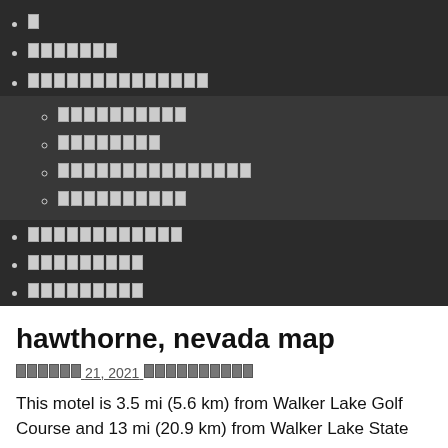▪ [blocked character]
▪ [blocked text ~7 chars]
▪ [blocked text ~14 chars] — with submenu
○ [blocked text ~10 chars]
○ [blocked text ~8 chars]
○ [blocked text ~15 chars]
○ [blocked text ~10 chars]
▪ [blocked text ~12 chars]
▪ [blocked text ~9 chars]
▪ [blocked text ~9 chars]
hawthorne, nevada map
[blocked date] 21, 2021[blocked text]
This motel is 3.5 mi (5.6 km) from Walker Lake Golf Course and 13 mi (20.9 km) from Walker Lake State Recreation Area. Best Dining in Hawthorne, Nevada: See 279